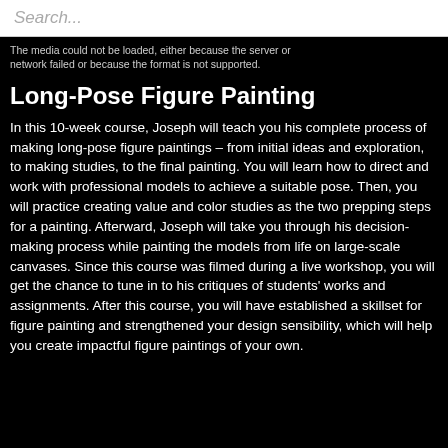Search...
The media could not be loaded, either because the server or network failed or because the format is not supported.
Long-Pose Figure Painting
In this 10-week course, Joseph will teach you his complete process of making long-pose figure paintings – from initial ideas and exploration, to making studies, to the final painting. You will learn how to direct and work with professional models to achieve a suitable pose. Then, you will practice creating value and color studies as the two prepping steps for a painting. Afterward, Joseph will take you through his decision-making process while painting the models from life on large-scale canvases. Since this course was filmed during a live workshop, you will get the chance to tune in to his critiques of students' works and assignments. After this course, you will have established a skillset for figure painting and strengthened your design sensibility, which will help you create impactful figure paintings of your own.